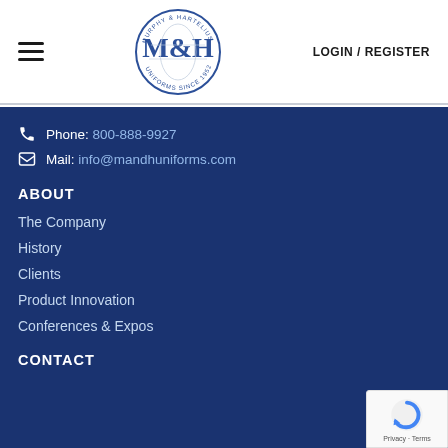[Figure (logo): Murphy & Hartelius Uniforms Since 1952 circular logo with M&H initials]
LOGIN / REGISTER
Phone: 800-888-9927
Mail: info@mandhuniforms.com
ABOUT
The Company
History
Clients
Product Innovation
Conferences & Expos
CONTACT